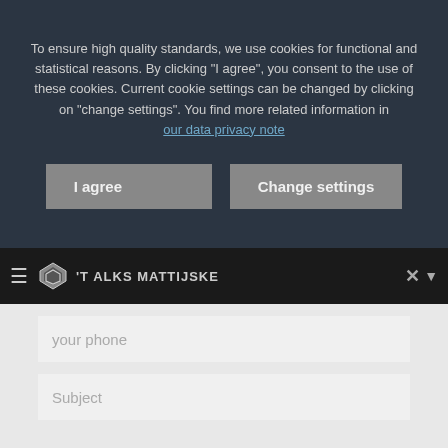To ensure high quality standards, we use cookies for functional and statistical reasons. By clicking "I agree", you consent to the use of these cookies. Current cookie settings can be changed by clicking on "change settings". You find more related information in our data privacy note
I agree
Change settings
'T ALKS MATTIJSKE
your phone
Subject